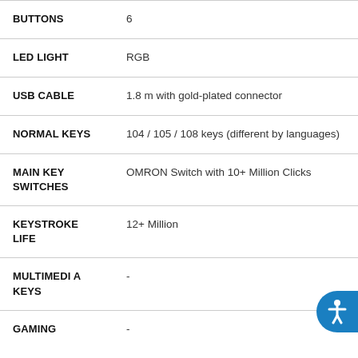| Specification | Value |
| --- | --- |
| BUTTONS | 6 |
| LED LIGHT | RGB |
| USB CABLE | 1.8 m with gold-plated connector |
| NORMAL KEYS | 104 / 105 / 108 keys (different by languages) |
| MAIN KEY SWITCHES | OMRON Switch with 10+ Million Clicks |
| KEYSTROKE LIFE | 12+ Million |
| MULTIMEDIA KEYS | - |
| GAMING | - |